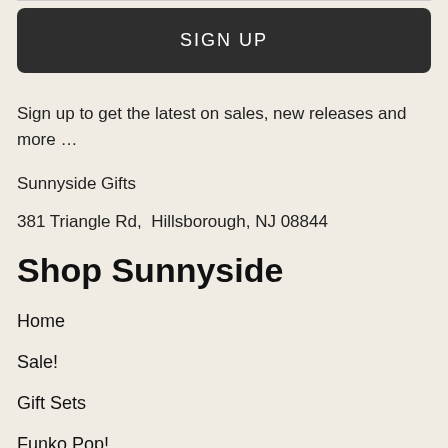[Figure (other): SIGN UP button — dark rounded rectangle with white uppercase text]
Sign up to get the latest on sales, new releases and more …
Sunnyside Gifts
381 Triangle Rd,  Hillsborough, NJ 08844
Shop Sunnyside
Home
Sale!
Gift Sets
Funko Pop!
Pop! Marvel
Pop! DC Comics